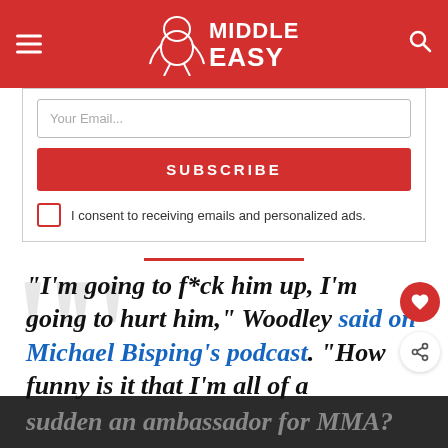Middle Easy
[Figure (screenshot): Email subscription form with 'Your Email...' input field, red SUBSCRIBE button, and checkbox for consent to receiving emails and personalized ads.]
I consent to receiving emails and personalized ads.
“I’m going to f*ck him up, I’m going to hurt him,” Woodley said on Michael Bisping’s podcast. “How funny is it that I’m all of a sudden an ambassador for MMA?